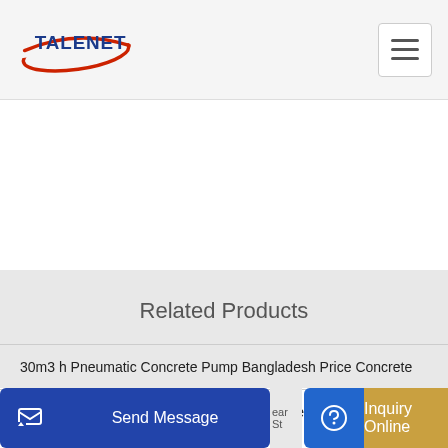[Figure (logo): Talenet logo with red swoosh and blue text]
Related Products
30m3 h Pneumatic Concrete Pump Bangladesh Price Concrete
TECHNIC CONCRETE PUMPS LIMITED overview
Send Message | Inquiry Online